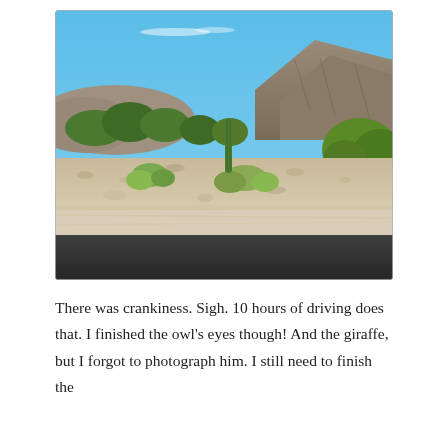[Figure (photo): Desert landscape photo taken from a moving car. Shows an arid scene with sandy gravel road shoulder in the foreground, desert scrub vegetation and a tall saguaro cactus in the middle ground, rocky mountains/hills in the background, and a clear blue sky above.]
There was crankiness. Sigh. 10 hours of driving does that. I finished the owl’s eyes though! And the giraffe, but I forgot to photograph him. I still need to finish the